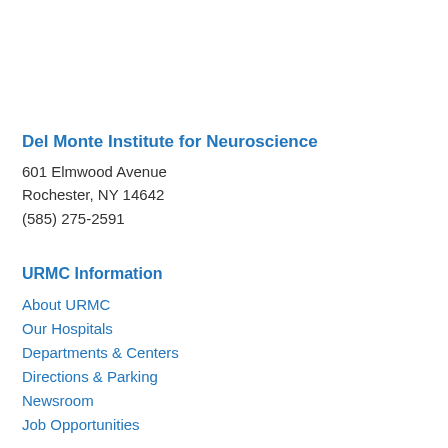Del Monte Institute for Neuroscience
601 Elmwood Avenue
Rochester, NY 14642
(585) 275-2591
URMC Information
About URMC
Our Hospitals
Departments & Centers
Directions & Parking
Newsroom
Job Opportunities